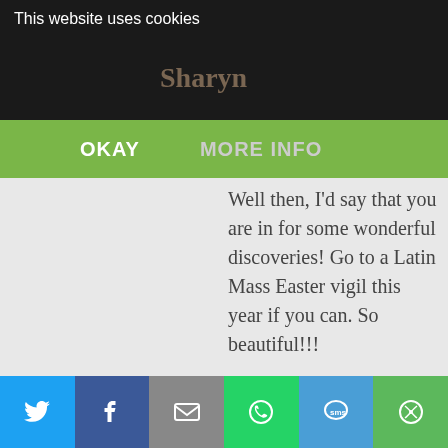This website uses cookies
Sharyn
OKAY   AT 2:17 AM   MORE INFO
Well then, I'd say that you are in for some wonderful discoveries! Go to a Latin Mass Easter vigil this year if you can. So beautiful!!!

Have you ever been to http://www.newliturgicalmovement.org You might like to read their articles.

Do you have children? I have a post on lent which you may find interesting,
[Figure (infographic): Social sharing bar with icons for Twitter, Facebook, Email, WhatsApp, SMS, and More]